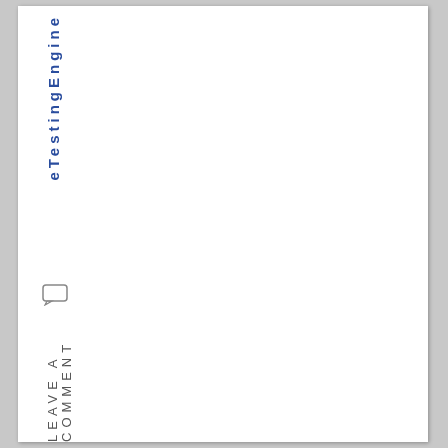eTestingEngine
LEAVE A COMMENT